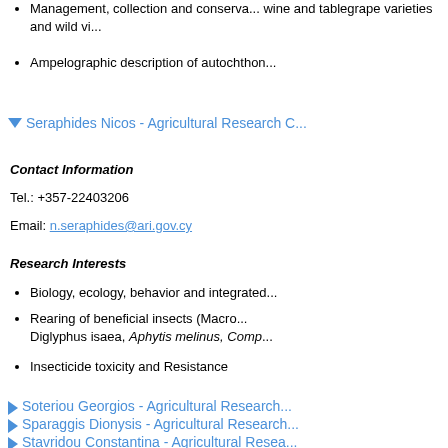Management, collection and conservation of wine and tablegrape varieties and wild vi...
Ampelographic description of autochthon...
Seraphides Nicos - Agricultural Research C...
Contact Information
Tel.: +357-22403206
Email: n.seraphides@ari.gov.cy
Research Interests
Biology, ecology, behavior and integrated...
Rearing of beneficial insects (Macro... Diglyphus isaea, Aphytis melinus, Comp...
Insecticide toxicity and Resistance
Soteriou Georgios - Agricultural Research...
Sparaggis Dionysis - Agricultural Research...
Stavridou Constantina - Agricultural Resea...
Stylianou Andreas - Agricultural Research...
Vassiliou Loukia - Agricultural Research O...